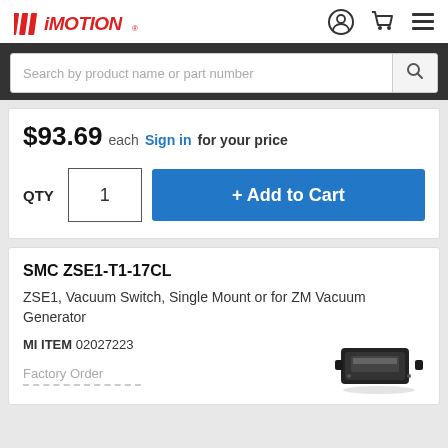iMOTION — navigation bar with logo, user icon, cart icon, menu icon
Search by product name or part number
$93.69 each Sign in for your price
QTY 1 + Add to Cart
SMC ZSE1-T1-17CL
ZSE1, Vacuum Switch, Single Mount or for ZM Vacuum Generator
MI ITEM 02027223
Factory Order
[Figure (photo): Small black rectangular vacuum switch product photo]